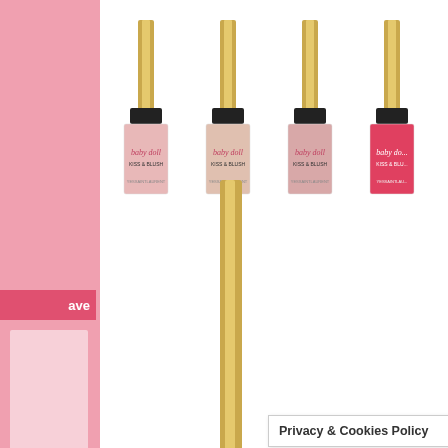[Figure (photo): YSL Baby Doll Kiss & Blush makeup products — one large hot-pink bottle in foreground and eight smaller bottles in background arranged in two rows on a white surface]
This lightweight and silky texture glides on lips for a soft matte look which is highly pigmented. The mousse-like consistency f...
Privacy & Cookies Policy